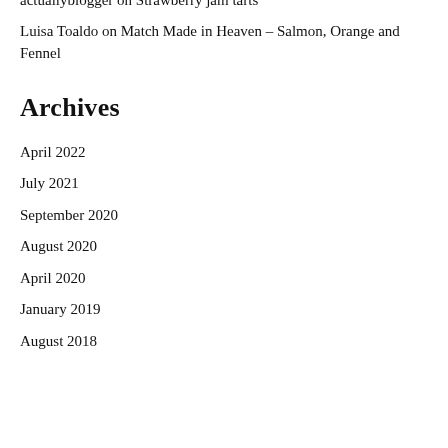actuallyblogger on Strawberry jam tarts
Luisa Toaldo on Match Made in Heaven – Salmon, Orange and Fennel
Archives
April 2022
July 2021
September 2020
August 2020
April 2020
January 2019
August 2018